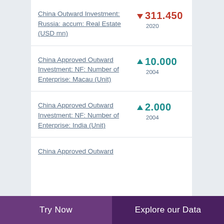China Outward Investment: Russia: accum: Real Estate (USD mn)
China Approved Outward Investment: NF: Number of Enterprise: Macau (Unit)
China Approved Outward Investment: NF: Number of Enterprise: India (Unit)
China Approved Outward
Try Now | Explore our Data